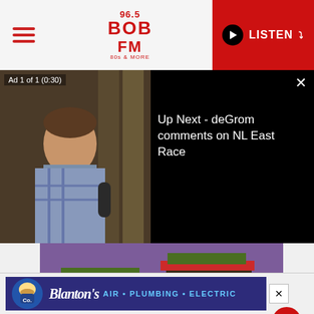[Figure (screenshot): 96.5 BOB FM website header with hamburger menu, logo, and red LISTEN button]
[Figure (screenshot): Video player showing ad 1 of 1 (0:30) with a man in a plaid shirt, dark background, and 'Up Next - deGrom comments on NL East Race' text overlay with close button]
[Figure (photo): Burger King Pride Whopper advertisement image showing two Whoppers with colorful rainbow-themed background and 'PRIDE WHOPPER' text]
creativebloq.com
Burger King did not think through its ‘Pride Whopper’ ad
[Figure (screenshot): Bottom advertisement banner for Blanton's Air, Plumbing, Electric with logo on dark blue background with X close button]